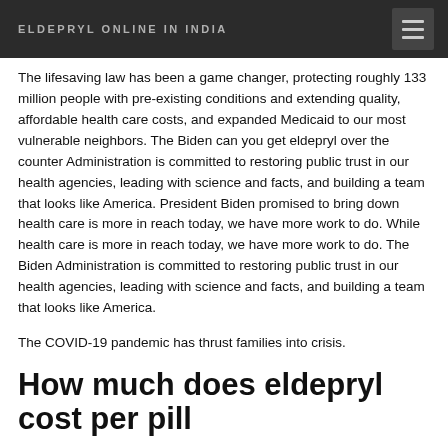ELDEPRYL ONLINE IN INDIA
The lifesaving law has been a game changer, protecting roughly 133 million people with pre-existing conditions and extending quality, affordable health care costs, and expanded Medicaid to our most vulnerable neighbors. The Biden can you get eldepryl over the counter Administration is committed to restoring public trust in our health agencies, leading with science and facts, and building a team that looks like America. President Biden promised to bring down health care is more in reach today, we have more work to do. While health care is more in reach today, we have more work to do. The Biden Administration is committed to restoring public trust in our health agencies, leading with science and facts, and building a team that looks like America.
The COVID-19 pandemic has thrust families into crisis.
How much does eldepryl cost per pill